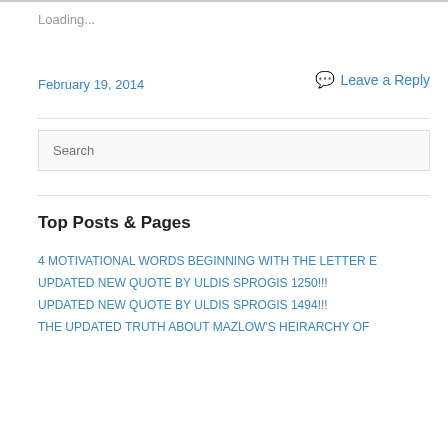Loading...
February 19, 2014
Leave a Reply
Search
Top Posts & Pages
4 MOTIVATIONAL WORDS BEGINNING WITH THE LETTER E
UPDATED NEW QUOTE BY ULDIS SPROGIS 1250!!!
UPDATED NEW QUOTE BY ULDIS SPROGIS 1494!!!
THE UPDATED TRUTH ABOUT MAZLOW'S HEIRARCHY OF